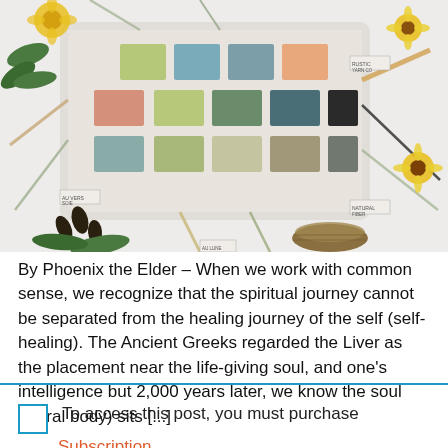[Figure (photo): A flat-lay photo of a hand-woven colorful textile swatch/sampler with multiple colored squares in sage green, teal, blue-gray, peach/salmon, olive/yellow-green, charcoal/black, and tan colors. The textile has yarn strands extending outward. Surrounding it are natural objects: yellow marigold flowers, sunflowers, leaves, pine cones, and a small bird nest. Small label tags are attached to the yarn strands.]
By Phoenix the Elder – When we work with common sense, we recognize that the spiritual journey cannot be separated from the healing journey of the self (self-healing). The Ancient Greeks regarded the Liver as the placement near the life-giving soul, and one's intelligence but 2,000 years later, we know the soul (astral body) sits [...]
To access this post, you must purchase
Subscription